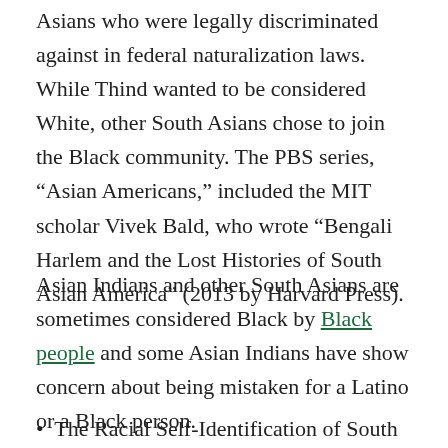Asians who were legally discriminated against in federal naturalization laws. While Thind wanted to be considered White, other South Asians chose to join the Black community. The PBS series, “Asian Americans,” included the MIT scholar Vivek Bald, who wrote “Bengali Harlem and the Lost Histories of South Asian America” (2013 by Harvard Press).
Asian Indians and other South Asians are sometimes considered Black by Black people and some Asian Indians have show concern about being mistaken for a Latino or a Black person.
The Racial Self-Identification of South Asians in